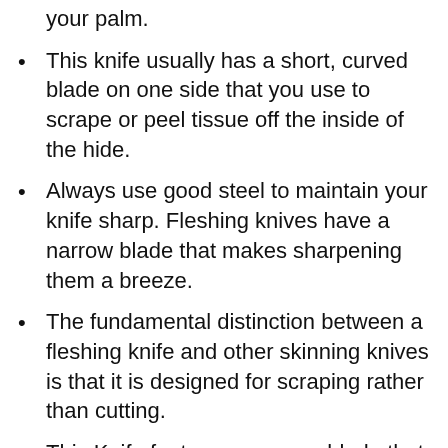your palm.
This knife usually has a short, curved blade on one side that you use to scrape or peel tissue off the inside of the hide.
Always use good steel to maintain your knife sharp. Fleshing knives have a narrow blade that makes sharpening them a breeze.
The fundamental distinction between a fleshing knife and other skinning knives is that it is designed for scraping rather than cutting.
This Knife features a narrow blade that allows you to cut the meat off while leaving the bone intact, and you can sharpen it with any sharpener.